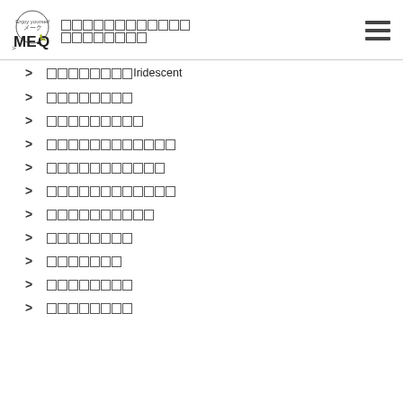ME-Q logo header with navigation menu icon
> [CJK characters]Iridescent
> [CJK characters]
> [CJK characters]
> [CJK characters]
> [CJK characters]
> [CJK characters]
> [CJK characters]
> [CJK characters]
> [CJK characters]
> [CJK characters]
> [CJK characters]